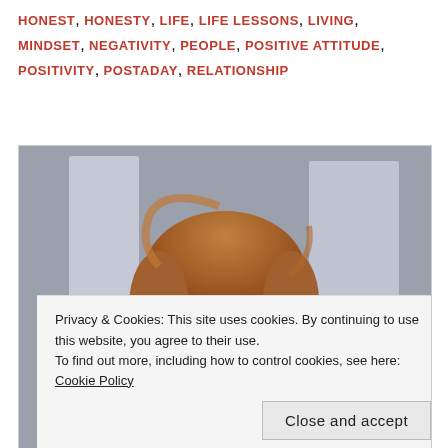HONEST, HONESTY, LIFE, LIFE LESSONS, LIVING, MINDSET, NEGATIVITY, PEOPLE, POSITIVE ATTITUDE, POSITIVITY, POSTADAY, RELATIONSHIP
[Figure (photo): A young woman with auburn hair holding a blue surgical face mask up to her face with both hands, looking at the camera with blue eyes. Blurred indoor background visible.]
Privacy & Cookies: This site uses cookies. By continuing to use this website, you agree to their use.
To find out more, including how to control cookies, see here: Cookie Policy
Close and accept